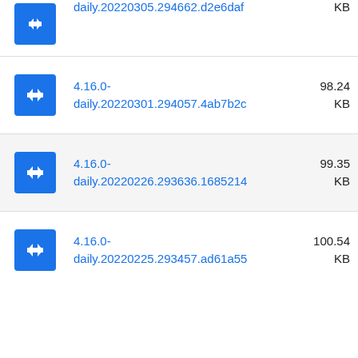daily.20220305.294662.d2e6daf  KB
4.16.0-daily.20220301.294057.4ab7b2c  98.24 KB
4.16.0-daily.20220226.293636.1685214  99.35 KB
4.16.0-daily.20220225.293457.ad61a55  100.54 KB